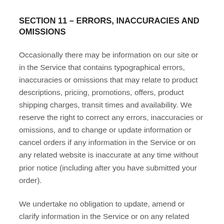SECTION 11 – ERRORS, INACCURACIES AND OMISSIONS
Occasionally there may be information on our site or in the Service that contains typographical errors, inaccuracies or omissions that may relate to product descriptions, pricing, promotions, offers, product shipping charges, transit times and availability. We reserve the right to correct any errors, inaccuracies or omissions, and to change or update information or cancel orders if any information in the Service or on any related website is inaccurate at any time without prior notice (including after you have submitted your order).
We undertake no obligation to update, amend or clarify information in the Service or on any related website, including without limitation, pricing information, except as required by law. No specified update or refresh date applied in the Service or on any related website, should be taken to indicate that all information in the Service or on any related website has been modified or updated.